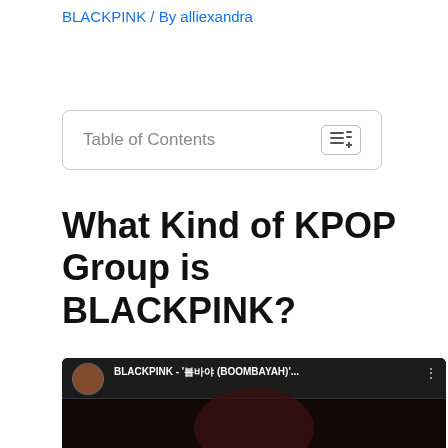BLACKPINK / By alliexandra
Table of Contents
What Kind of KPOP Group is BLACKPINK?
[Figure (screenshot): YouTube video embed showing BLACKPINK - '붐바야 (BOOMBAYAH)'... with a dark thumbnail of a woman's face, red YouTube play button in center, and YG OFFICIAL watermark in bottom left]